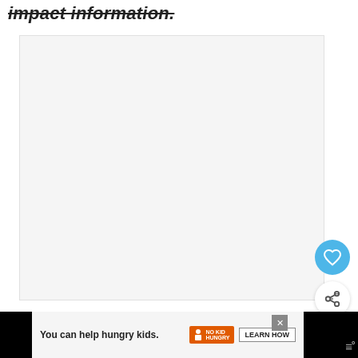impact information.
[Figure (photo): Large light grey/white blank image area, main content area of a web article page]
[Figure (illustration): Blue circular FAB button with heart icon (favourite/like)]
[Figure (illustration): White circular FAB button with share/add icon]
[Figure (screenshot): WHAT'S NEXT card with thumbnail and title 'List Of Sportswear ...']
[Figure (illustration): Advertisement bar at bottom: 'You can help hungry kids.' No Kid Hungry logo and LEARN HOW button, with close X, on black background with site watermark logo]